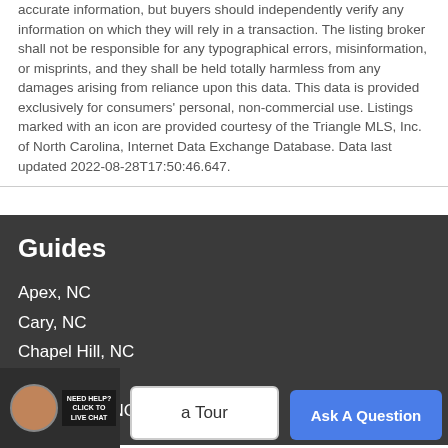accurate information, but buyers should independently verify any information on which they will rely in a transaction. The listing broker shall not be responsible for any typographical errors, misinformation, or misprints, and they shall be held totally harmless from any damages arising from reliance upon this data. This data is provided exclusively for consumers' personal, non-commercial use. Listings marked with an icon are provided courtesy of the Triangle MLS, Inc. of North Carolina, Internet Data Exchange Database. Data last updated 2022-08-28T17:50:46.647.
Guides
Apex, NC
Cary, NC
Chapel Hill, NC
Clayton, NC
Creedmoor, NC
more guides →